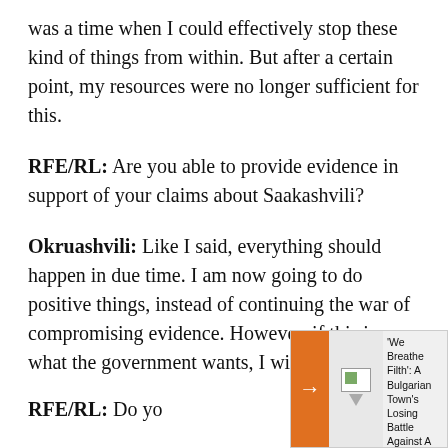was a time when I could effectively stop these kind of things from within. But after a certain point, my resources were no longer sufficient for this.
RFE/RL: Are you able to provide evidence in support of your claims about Saakashvili?
Okruashvili: Like I said, everything should happen in due time. I am now going to do positive things, instead of continuing the war of compromising evidence. However, if this is what the government wants, I will be ready.
RFE/RL: Do yo...
[Figure (other): Overlay widget with orange arrow button and broken image thumbnail, with text: 'We Breathe Filth': A Bulgarian Town's Losing Battle Against A Domineering Coal Plant]